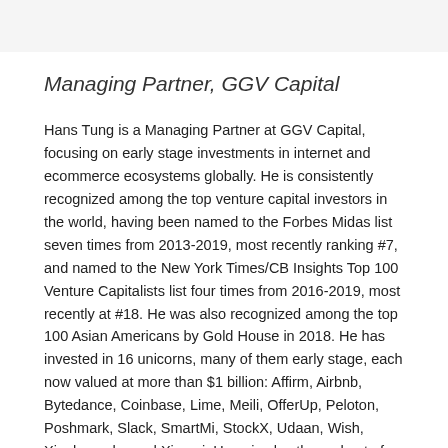Managing Partner, GGV Capital
Hans Tung is a Managing Partner at GGV Capital, focusing on early stage investments in internet and ecommerce ecosystems globally. He is consistently recognized among the top venture capital investors in the world, having been named to the Forbes Midas list seven times from 2013-2019, most recently ranking #7, and named to the New York Times/CB Insights Top 100 Venture Capitalists list four times from 2016-2019, most recently at #18. He was also recognized among the top 100 Asian Americans by Gold House in 2018. He has invested in 16 unicorns, many of them early stage, each now valued at more than $1 billion: Affirm, Airbnb, Bytedance, Coinbase, Lime, Meili, OfferUp, Peloton, Poshmark, Slack, SmartMi, StockX, Udaan, Wish, Xiaohongshu and Xiaomi. Hans is also the co-host of the popular podcast, “Evolving for the Next Billion” on entrepreneurship in the US, China, India, SE Asia and Latin America.